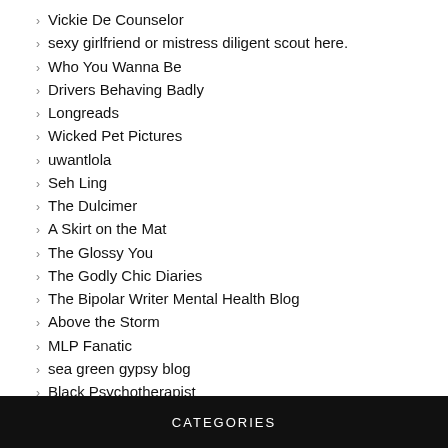Vickie De Counselor
sexy girlfriend or mistress diligent scout here.
Who You Wanna Be
Drivers Behaving Badly
Longreads
Wicked Pet Pictures
uwantlola
Seh Ling
The Dulcimer
A Skirt on the Mat
The Glossy You
The Godly Chic Diaries
The Bipolar Writer Mental Health Blog
Above the Storm
MLP Fanatic
sea green gypsy blog
Black Psychotherapist
CATEGORIES